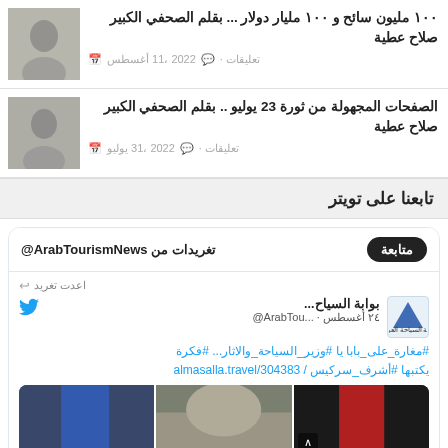١٠٠ مليون سائح و ١٠٠ مليار دولار ... بقلم الصحفي الكبير صلاح عطية
أغسطس 11، 2022 · تعليقات
الصفحات المجهولة من ثورة 23 يوليو .. بقلم الصحفي الكبير صلاح عطية
يوليو 31، 2022 · تعليقات
تابعنا على تويتر
تغريدات من @ArabTourismNews
متابعة
اعدت تغريد
بوابة السياح... @ArabTou... ٢٤ أغسطس
#مغارة_على_بابا يا #وزير_السياحة_والاثار... #فكرة يكتبها #أشرف_سركيس / almasalla.travel/304383